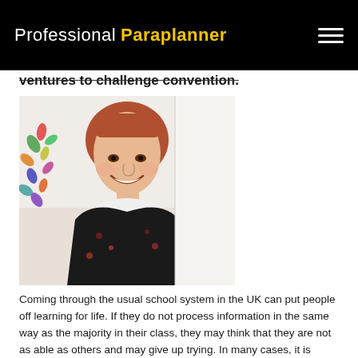Professional Paraplanner
ventures to challenge convention.
[Figure (photo): Smiling woman with auburn hair in a black floral jacket, standing in front of a colourful leaf artwork on a white wall.]
Coming through the usual school system in the UK can put people off learning for life. If they do not process information in the same way as the majority in their class, they may think that they are not as able as others and may give up trying. In many cases, it is simply that the teaching / learning style in